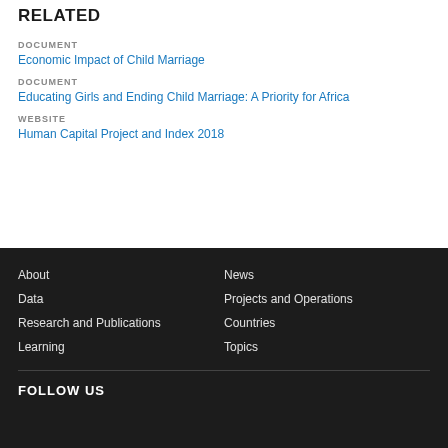RELATED
DOCUMENT
Economic Impact of Child Marriage
DOCUMENT
Educating Girls and Ending Child Marriage: A Priority for Africa
WEBSITE
Human Capital Project and Index 2018
About
Data
Research and Publications
Learning
News
Projects and Operations
Countries
Topics
FOLLOW US